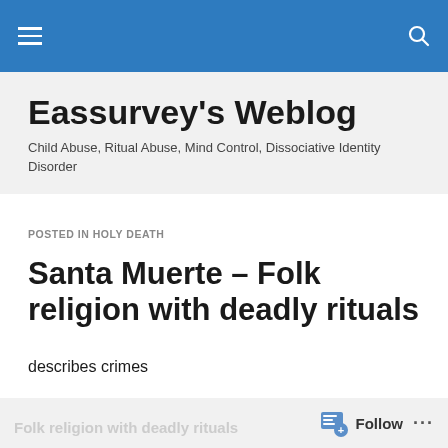Eassurvey's Weblog
Eassurvey's Weblog
Child Abuse, Ritual Abuse, Mind Control, Dissociative Identity Disorder
POSTED IN HOLY DEATH
Santa Muerte – Folk religion with deadly rituals
describes crimes
Follow